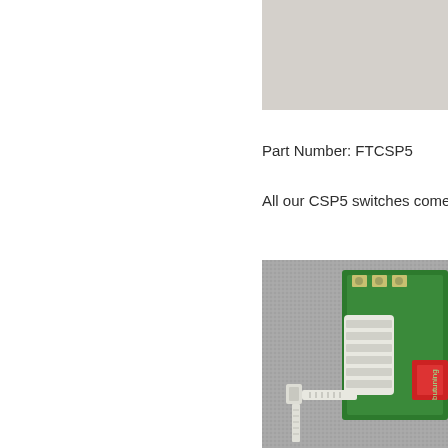[Figure (photo): Gray rectangular photo placeholder at top right of page]
Part Number: FTCSP5
All our CSP5 switches come wi...
[Figure (photo): Close-up photograph of a green PCB circuit board with white connector/cable tie on a gray fabric background, with a red component visible]